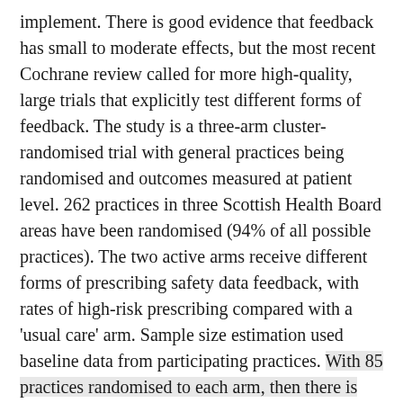implement. There is good evidence that feedback has small to moderate effects, but the most recent Cochrane review called for more high-quality, large trials that explicitly test different forms of feedback. The study is a three-arm cluster-randomised trial with general practices being randomised and outcomes measured at patient level. 262 practices in three Scottish Health Board areas have been randomised (94% of all possible practices). The two active arms receive different forms of prescribing safety data feedback, with rates of high-risk prescribing compared with a 'usual care' arm. Sample size estimation used baseline data from participating practices. With 85 practices randomised to each arm, then there is 93% power to detect a 25% difference in the percentage of high-risk prescribing (from 6.1% to 4.5%) between the usual care arm and each intervention arm. The primary outcome is a composite of six high-risk prescribing measures (antipsychotic prescribing to people aged ≥75 years; non-steroidal anti-